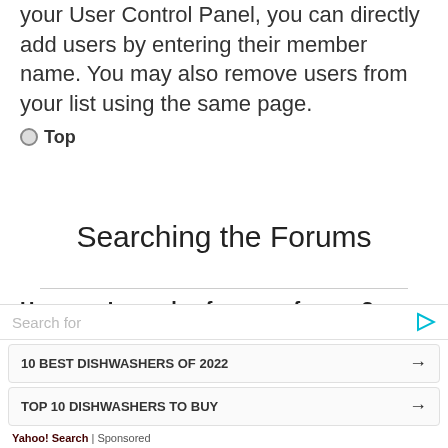your User Control Panel, you can directly add users by entering their member name. You may also remove users from your list using the same page.
Top
Searching the Forums
How can I search a forum or forums?
Enter a search term in the
[Figure (other): Advertisement overlay with search bar showing 'Search for', two sponsored search result items '10 BEST DISHWASHERS OF 2022' and 'TOP 10 DISHWASHERS TO BUY', and Yahoo! Search | Sponsored footer.]